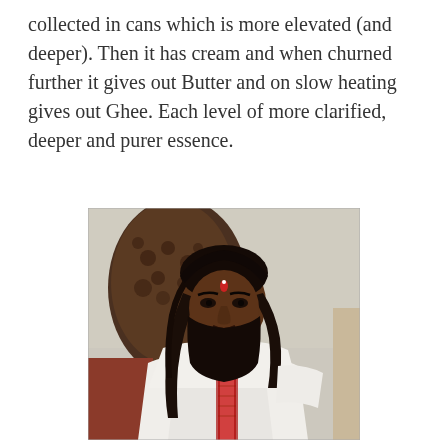collected in cans which is more elevated (and deeper). Then it has cream and when churned further it gives out Butter and on slow heating gives out Ghee. Each level of more clarified, deeper and purer essence.
[Figure (photo): A person with long black hair and beard wearing white robes, seated on an ornate chair, with a small red mark on their forehead, appearing to be a spiritual teacher.]